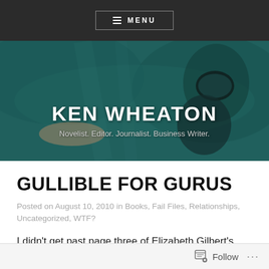≡ MENU
KEN WHEATON
Novelist. Editor. Journalist. Business Writer.
GULLIBLE FOR GURUS
Posted on August 10, 2010 in Books, Fail Files, Relationships, Uncategorized, WTF?
I didn't get past page three of Elizabeth Gilbert's